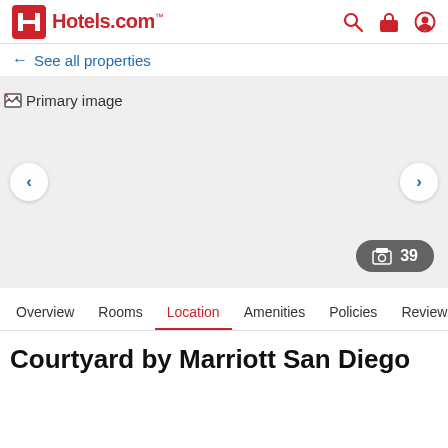Hotels.com
← See all properties
[Figure (photo): Primary hotel image placeholder (broken image with text 'Primary image')]
Overview  Rooms  Location  Amenities  Policies  Reviews
Courtyard by Marriott San Diego